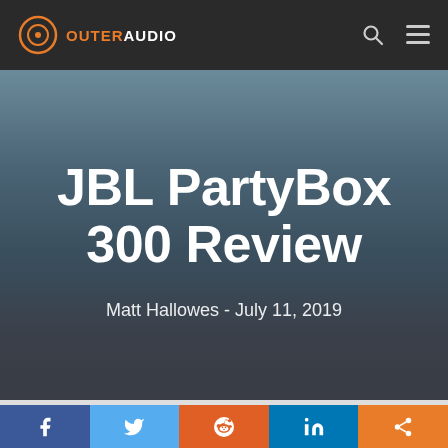OUTER AUDIO
JBL PartyBox 300 Review
Matt Hallowes - July 11, 2019